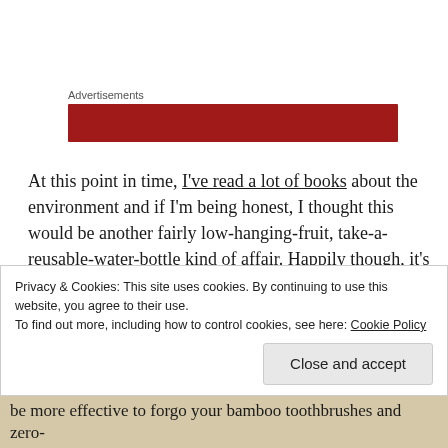Advertisements
[Figure (other): Red advertisement banner bar]
At this point in time, I've read a lot of books about the environment and if I'm being honest, I thought this would be another fairly low-hanging-fruit, take-a-reusable-water-bottle kind of affair. Happily though, it's really not. It's a considered, nuanced look at why the things we're doing aren't necessarily for the best and it's a take that I feel is long, long overdue.
Privacy & Cookies: This site uses cookies. By continuing to use this website, you agree to their use.
To find out more, including how to control cookies, see here: Cookie Policy
Close and accept
be more effective to forgo your bamboo toothbrushes and zero-